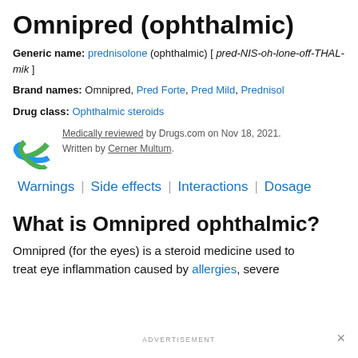Omnipred (ophthalmic)
Generic name: prednisolone (ophthalmic) [ pred-NIS-oh-lone-off-THAL-mik ]
Brand names: Omnipred, Pred Forte, Pred Mild, Prednisol
Drug class: Ophthalmic steroids
Medically reviewed by Drugs.com on Nov 18, 2021. Written by Cerner Multum.
Warnings | Side effects | Interactions | Dosage
What is Omnipred ophthalmic?
Omnipred (for the eyes) is a steroid medicine used to treat eye inflammation caused by allergies, severe
ADVERTISEMENT